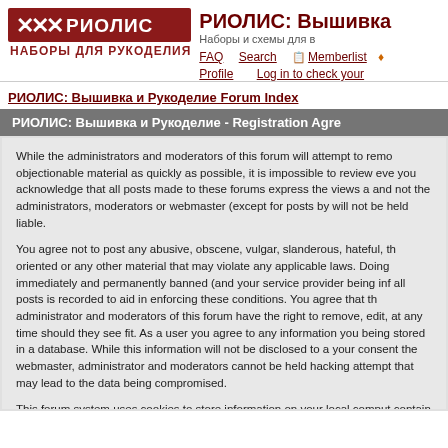[Figure (logo): РИОЛИС logo with cross-stitch symbol and text НАБОРЫ ДЛЯ РУКОДЕЛИЯ]
РИОЛИС: Вышивка и Рукоделие
Наборы и схемы для вышивания
FAQ  Search  Memberlist  Profile  Log in to check your
РИОЛИС: Вышивка и Рукоделие Forum Index
РИОЛИС: Вышивка и Рукоделие - Registration Agre
While the administrators and moderators of this forum will attempt to remove objectionable material as quickly as possible, it is impossible to review every you acknowledge that all posts made to these forums express the views a and not the administrators, moderators or webmaster (except for posts by will not be held liable.
You agree not to post any abusive, obscene, vulgar, slanderous, hateful, th oriented or any other material that may violate any applicable laws. Doing immediately and permanently banned (and your service provider being inf all posts is recorded to aid in enforcing these conditions. You agree that th administrator and moderators of this forum have the right to remove, edit, at any time should they see fit. As a user you agree to any information you being stored in a database. While this information will not be disclosed to a your consent the webmaster, administrator and moderators cannot be held hacking attempt that may lead to the data being compromised.
This forum system uses cookies to store information on your local comput contain any of the information you have entered above; they serve only to pleasure. The e-mail address is used only for confirming your registration a (and for sending new passwords should you forget your current one).